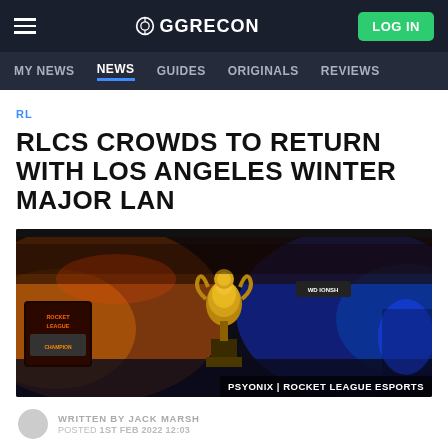GGRECON — LOG IN
MY NEWS  NEWS  GUIDES  ORIGINALS  REVIEWS
RL
RLCS CROWDS TO RETURN WITH LOS ANGELES WINTER MAJOR LAN
[Figure (photo): Esports event crowd scene with golden trophy in the foreground and arena crowd in background lit with orange and blue lights. Rocket League Championship branding visible.]
PSYONIX | ROCKET LEAGUE ESPORTS
WRITTEN BY JACK MARSH
Posted 1ST FEB 2022 12:03